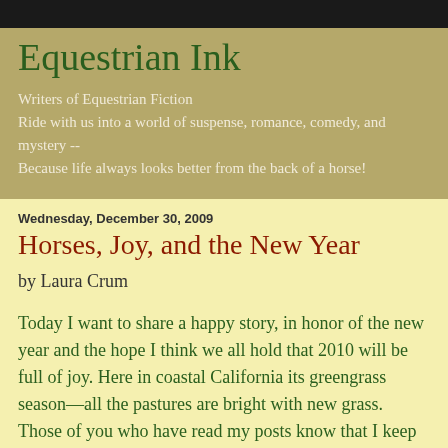Equestrian Ink
Writers of Equestrian Fiction
Ride with us into a world of suspense, romance, comedy, and mystery --
Because life always looks better from the back of a horse!
Wednesday, December 30, 2009
Horses, Joy, and the New Year
by Laura Crum
Today I want to share a happy story, in honor of the new year and the hope I think we all hold that 2010 will be full of joy. Here in coastal California its greengrass season—all the pastures are bright with new grass. Those of you who have read my posts know that I keep five retired/rescued horses turned out in a nearby pasture. The other day my kid and I went out to do a little reshuffling, and were